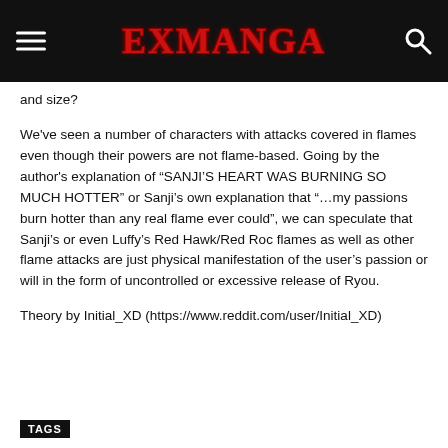EXMANGA
and size?
We've seen a number of characters with attacks covered in flames even though their powers are not flame-based. Going by the author's explanation of “SANJI’S HEART WAS BURNING SO MUCH HOTTER” or Sanji’s own explanation that “…my passions burn hotter than any real flame ever could”, we can speculate that Sanji’s or even Luffy’s Red Hawk/Red Roc flames as well as other flame attacks are just physical manifestation of the user’s passion or will in the form of uncontrolled or excessive release of Ryou.
Theory by Initial_XD (https://www.reddit.com/user/Initial_XD)